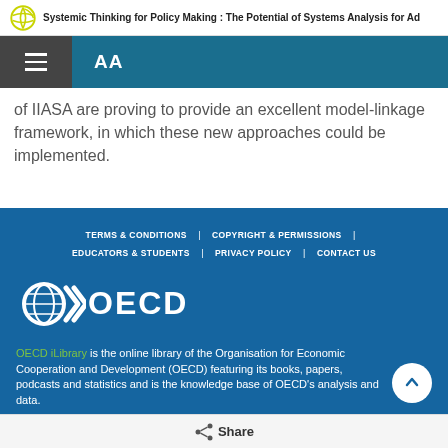Systemic Thinking for Policy Making : The Potential of Systems Analysis for Ad
of IIASA are proving to provide an excellent model-linkage framework, in which these new approaches could be implemented.
TERMS & CONDITIONS | COPYRIGHT & PERMISSIONS | EDUCATORS & STUDENTS | PRIVACY POLICY | CONTACT US
[Figure (logo): OECD logo with globe and chevron mark in white on blue background, with text OECD]
OECD iLibrary is the online library of the Organisation for Economic Cooperation and Development (OECD) featuring its books, papers, podcasts and statistics and is the knowledge base of OECD's analysis and data.
Share